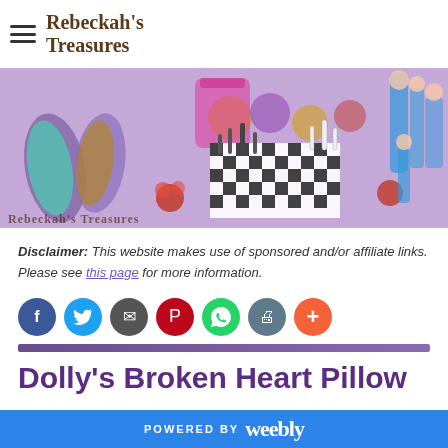Rebeckah's Treasures
[Figure (photo): Banner image showing mermaid dolls, stuffed animals, a chess board, Barbie-style dolls, and the text 'Rebeckah's Treasures' at bottom left, all on a purple background]
Disclaimer: This website makes use of sponsored and/or affiliate links. Please see this page for more information.
[Figure (infographic): Row of social media share buttons: Facebook (blue), Twitter (light blue), Email (dark gray), Pinterest (red), WhatsApp (green), Print (teal-gray), Plus/More (orange-red)]
Dolly's Broken Heart Pillow
POWERED BY weebly